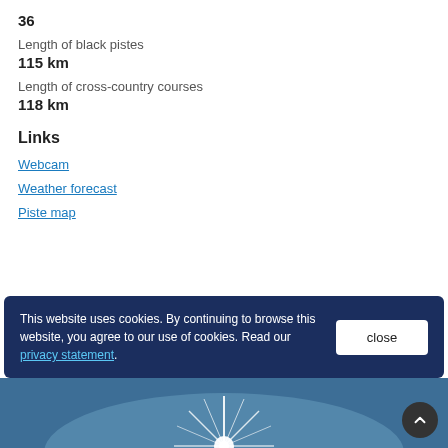36
Length of black pistes
115 km
Length of cross-country courses
118 km
Links
Webcam
Weather forecast
Piste map
This website uses cookies. By continuing to browse this website, you agree to our use of cookies. Read our privacy statement.
[Figure (photo): Blue sky with bright star burst sunlight effect at the bottom of the page]